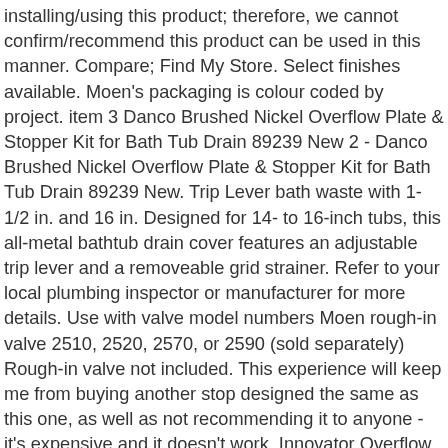installing/using this product; therefore, we cannot confirm/recommend this product can be used in this manner. Compare; Find My Store. Select finishes available. Moen's packaging is colour coded by project. item 3 Danco Brushed Nickel Overflow Plate & Stopper Kit for Bath Tub Drain 89239 New 2 - Danco Brushed Nickel Overflow Plate & Stopper Kit for Bath Tub Drain 89239 New. Trip Lever bath waste with 1-1/2 in. and 16 in. Designed for 14- to 16-inch tubs, this all-metal bathtub drain cover features an adjustable trip lever and a removeable grid strainer. Refer to your local plumbing inspector or manufacturer for more details. Use with valve model numbers Moen rough-in valve 2510, 2520, 2570, or 2590 (sold separately) Rough-in valve not included. This experience will keep me from buying another stop designed the same as this one, as well as not recommending it to anyone - it's expensive and it doesn't work. Innovator Overflow, Push Pull Bathtub Closure, Brushed Nickel Easy online